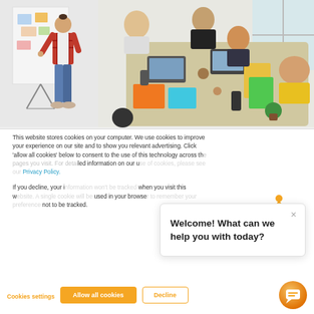[Figure (photo): Two office photos side-by-side: left shows a man presenting at a whiteboard, right shows an overhead view of people collaborating around an office table with laptops and notebooks.]
This website stores cookies on your computer. We use cookies to improve your experience on our site and to show you relevant advertising. Click 'allow all cookies' below to consent to the use of this technology across the pages you visit. For detailed information on our use of cookies, please see our Privacy Policy.
If you decline, your information won't be tracked when you visit this website. A single cookie will be used in your browser to remember your preference not to be tracked.
Welcome! What can we help you with today?
Cookies settings
Allow all cookies
Decline